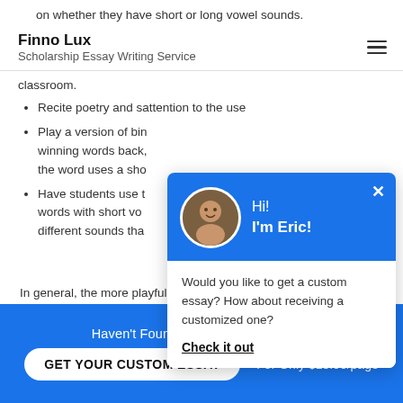on whether they have short or long vowel sounds.
Finno Lux
Scholarship Essay Writing Service
classroom.
Recite poetry and s... attention to the use...
Play a version of bin... winning words back, ... the word uses a sho...
Have students use t... words with short vo... different sounds tha...
[Figure (screenshot): Chat popup overlay with blue header showing avatar of Eric and greeting 'Hi! I'm Eric!' with message 'Would you like to get a custom essay? How about receiving a customized one?' and 'Check it out' link]
In general, the more playful opportunities you can give s... ts
Haven't Found The Essay You Want?
GET YOUR CUSTOM ESSAY    For Only $13.90/page